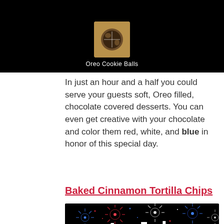[Figure (photo): Black background banner showing Oreo Cookie Balls food photo with caption]
In just an hour and a half you could serve your guests soft, Oreo filled, chocolate covered desserts. You can even get creative with your chocolate and color them red, white, and blue in honor of this special day.
Baked Cinnamon Tortilla Chips
[Figure (photo): Black banner with fireworks and text: 4th of July DESSERTS, with a photo of cinnamon tortilla chips below]